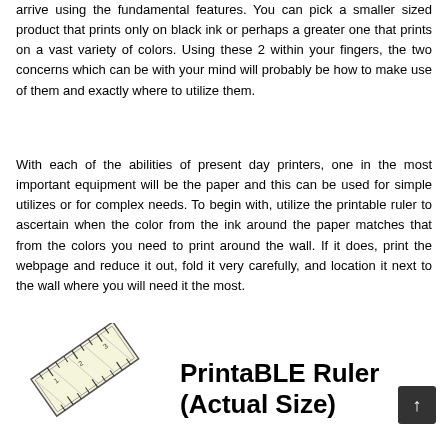arrive using the fundamental features. You can pick a smaller sized product that prints only on black ink or perhaps a greater one that prints on a vast variety of colors. Using these 2 within your fingers, the two concerns which can be with your mind will probably be how to make use of them and exactly where to utilize them.
With each of the abilities of present day printers, one in the most important equipment will be the paper and this can be used for simple utilizes or for complex needs. To begin with, utilize the printable ruler to ascertain when the color from the ink around the paper matches that from the colors you need to print around the wall. If it does, print the webpage and reduce it out, fold it very carefully, and location it next to the wall where you will need it the most.
[Figure (illustration): Illustration of a printable ruler at an angle, showing measurement markings]
PrintaBLE Ruler (Actual Size)